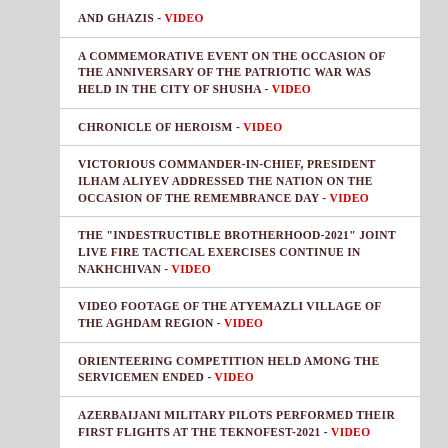AND GHAZIS - VIDEO
A COMMEMORATIVE EVENT ON THE OCCASION OF THE ANNIVERSARY OF THE PATRIOTIC WAR WAS HELD IN THE CITY OF SHUSHA - VIDEO
CHRONICLE OF HEROISM - VIDEO
VICTORIOUS COMMANDER-IN-CHIEF, PRESIDENT ILHAM ALIYEV ADDRESSED THE NATION ON THE OCCASION OF THE REMEMBRANCE DAY - VIDEO
THE "INDESTRUCTIBLE BROTHERHOOD-2021" JOINT LIVE FIRE TACTICAL EXERCISES CONTINUE IN NAKHCHIVAN - VIDEO
VIDEO FOOTAGE OF THE ATYEMAZLI VILLAGE OF THE AGHDAM REGION - VIDEO
ORIENTEERING COMPETITION HELD AMONG THE SERVICEMEN ENDED - VIDEO
AZERBAIJANI MILITARY PILOTS PERFORMED THEIR FIRST FLIGHTS AT THE TEKNOFEST-2021 - VIDEO